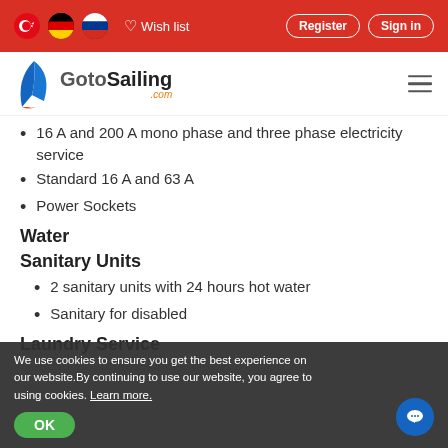GotoSailing.com navigation bar with language flags (Turkish, German, Russian), Wish list, Register, Sign in buttons
16 A and 200 A mono phase and three phase electricity service
Standard 16 A and 63 A
Power Sockets
Water
Sanitary Units
2 sanitary units with 24 hours hot water
Sanitary for disabled
Laundry Service
We use cookies to ensure you get the best experience on our website. By continuing to use our website, you agree to using cookies. Learn more.